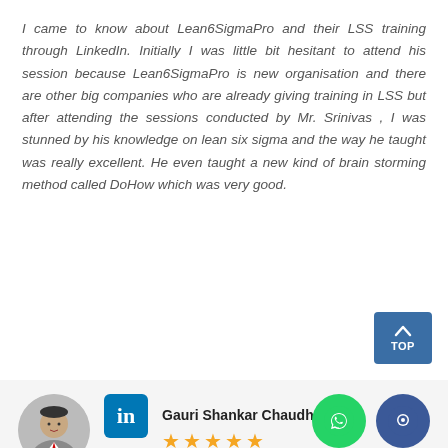I came to know about Lean6SigmaPro and their LSS training through LinkedIn. Initially I was little bit hesitant to attend his session because Lean6SigmaPro is new organisation and there are other big companies who are already giving training in LSS but after attending the sessions conducted by Mr. Srinivas , I was stunned by his knowledge on lean six sigma and the way he taught was really excellent. He even taught a new kind of brain storming method called DoHow which was very good.
[Figure (photo): Profile photo of Gauri Shankar Chaudhary, a man in a suit with a red tie]
[Figure (logo): LinkedIn logo (white 'in' on blue background)]
Gauri Shankar Chaudh...
[Figure (infographic): Five gold star rating]